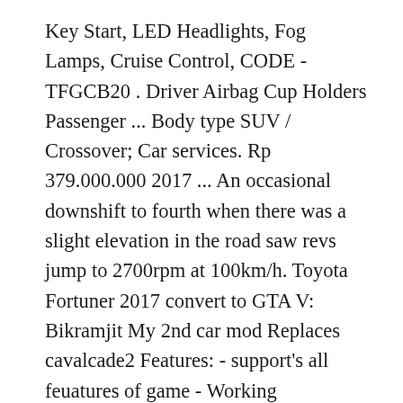Key Start, LED Headlights, Fog Lamps, Cruise Control, CODE - TFGCB20 . Driver Airbag Cup Holders Passenger ... Body type SUV / Crossover; Car services. Rp 379.000.000 2017 ... An occasional downshift to fourth when there was a slight elevation in the road saw revs jump to 2700rpm at 100km/h. Toyota Fortuner 2017 convert to GTA V: Bikramjit My 2nd car mod Replaces cavalcade2 Features: - support's all feuatures of game - Working steeringwheel and dials - GTA 5 license plates - Breakable windows. The range topping variant is equipped with 18-inch alloys shod with 265/80R18 tires, other variants in the range get 17-inch alloys on 265/65R17 tires. View the entire range and specifications for the Toyota